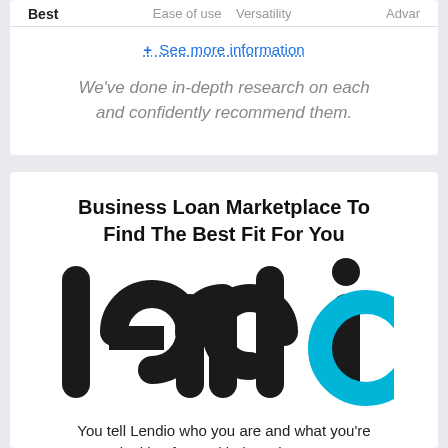Best   Ease of use   Versatility   Advan
+ See more information
We've done in-depth research on each and confidently recommend them.
Business Loan Marketplace To Find The Best Fit For You
[Figure (logo): Lendio logo — 'lendi' in dark gray/black rounded letters and 'o' as a cyan/blue circle ring]
You tell Lendio who you are and what you're looking for, and it does the rest. Includes over 300 business funders.